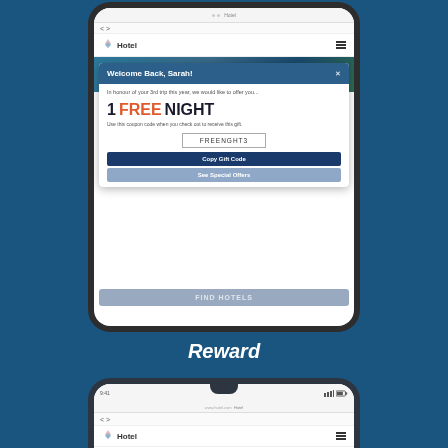[Figure (screenshot): Mobile phone mockup showing a hotel app with a popup modal. The modal has a dark blue header saying 'Welcome Back, Sarah!', body text 'In honour of your 3rd trip this year, we would like to offer you...', large bold text '1 FREE NIGHT', instructions 'Use this coupon code when you check out to receive this gift.', coupon code box 'FREENGHT3', a dark blue 'Copy Gift Code' button, and a steel blue 'See Special Offers' button. Below the modal is a 'FIND HOTELS' bar.]
Reward
[Figure (screenshot): Bottom of a mobile phone mockup showing a hotel app with a 'Customer Survey' page heading. The phone shows a modern bezel-less style with a notch.]